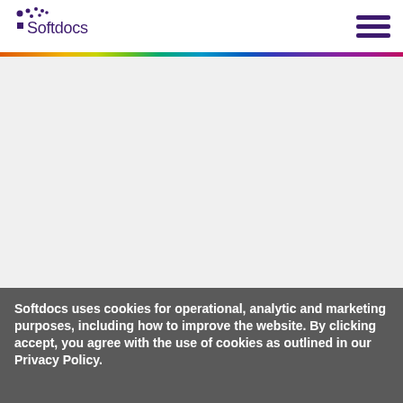Softdocs
Softdocs uses cookies for operational, analytic and marketing purposes, including how to improve the website. By clicking accept, you agree with the use of cookies as outlined in our Privacy Policy.